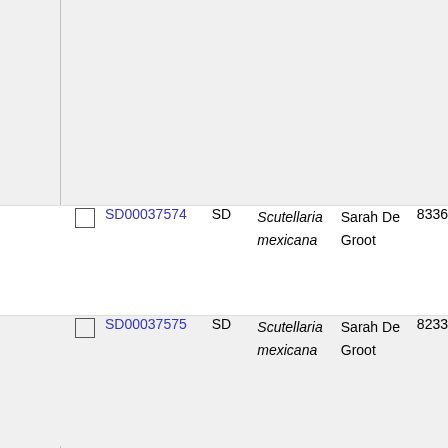|  | ID | Inst | Species | Collector | Number |
| --- | --- | --- | --- | --- | --- |
| ☐ | SD00037574 | SD | Scutellaria mexicana | Sarah De Groot | 8336 |
| ☐ | SD00037575 | SD | Scutellaria mexicana | Sarah De Groot | 8233 |